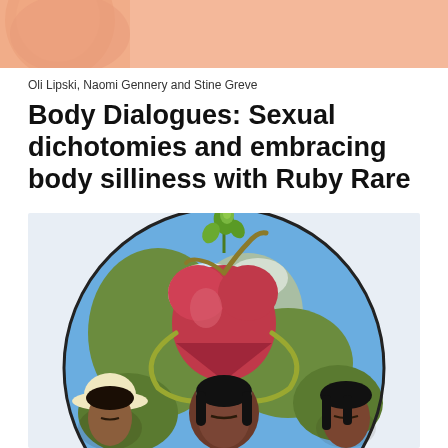[Figure (photo): Partial cropped photo at top of page showing peach/skin-toned background with a partial human figure]
Oli Lipski, Naomi Gennery and Stine Greve
Body Dialogues: Sexual dichotomies and embracing body silliness with Ruby Rare
[Figure (illustration): Colourful illustrated artwork showing a globe (earth with blue oceans and green/brown landmasses) with a large anatomical heart in the center that has a green plant/sprout growing from the top, entwined with a yellow-green cord/vine. Below the heart are three figures with dark hair and closed eyes — a central figure wearing a decorative headband, one figure at left wearing a wide-brimmed hat, and one figure at right. The background is light blue inside a circular frame.]